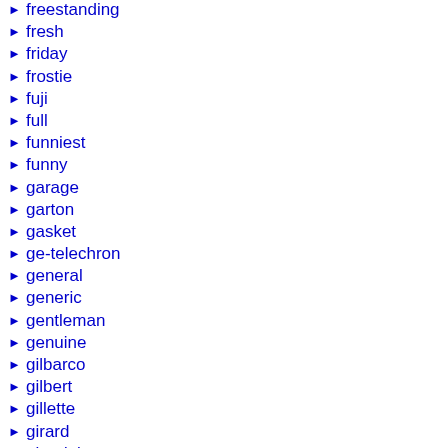freestanding
fresh
friday
frostie
fuji
full
funniest
funny
garage
garton
gasket
ge-telechron
general
generic
gentleman
genuine
gilbarco
gilbert
gillette
girard
glendale
gold
goodyear